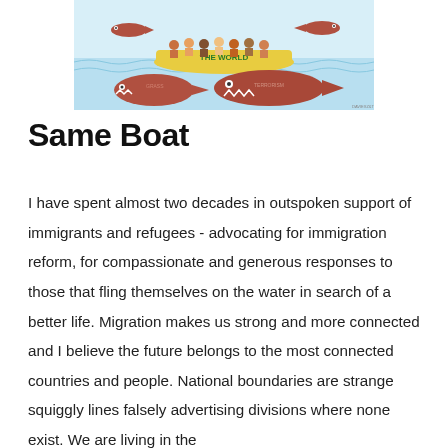[Figure (illustration): A cartoon illustration showing a yellow boat labeled 'THE WORLD' with diverse people on board, floating on water. Below and around the boat are several large brown fish with teeth (sharks), appearing menacing.]
Same Boat
I have spent almost two decades in outspoken support of immigrants and refugees - advocating for immigration reform, for compassionate and generous responses to those that fling themselves on the water in search of a better life. Migration makes us strong and more connected and I believe the future belongs to the most connected countries and people. National boundaries are strange squiggly lines falsely advertising divisions where none exist. We are living in the